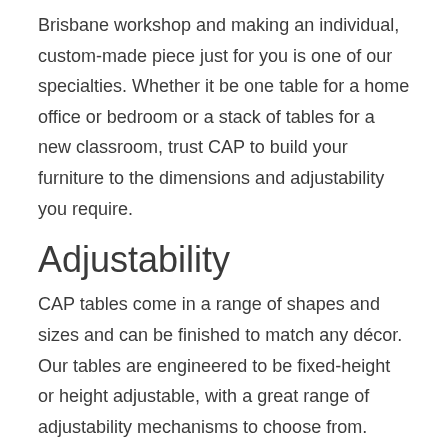Brisbane workshop and making an individual, custom-made piece just for you is one of our specialties. Whether it be one table for a home office or bedroom or a stack of tables for a new classroom, trust CAP to build your furniture to the dimensions and adjustability you require.
Adjustability
CAP tables come in a range of shapes and sizes and can be finished to match any décor. Our tables are engineered to be fixed-height or height adjustable, with a great range of adjustability mechanisms to choose from.
Trapezoid Tables are useful in a variety of settings and the most standard inclusion in schools and childcare centres.